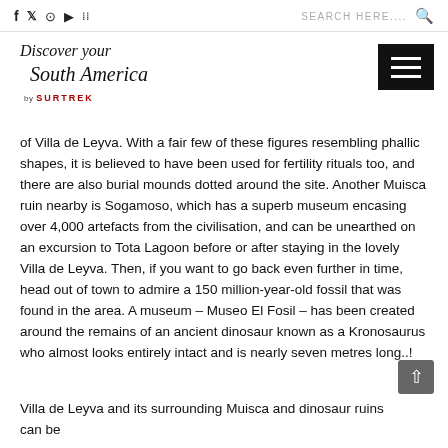f  tw  instagram  youtube  flickr   SEARCH HERE....  🔍
[Figure (logo): Discover your South America by SURTREK logo with cursive script and hamburger menu icon]
of Villa de Leyva. With a fair few of these figures resembling phallic shapes, it is believed to have been used for fertility rituals too, and there are also burial mounds dotted around the site. Another Muisca ruin nearby is Sogamoso, which has a superb museum encasing over 4,000 artefacts from the civilisation, and can be unearthed on an excursion to Tota Lagoon before or after staying in the lovely Villa de Leyva. Then, if you want to go back even further in time, head out of town to admire a 150 million-year-old fossil that was found in the area. A museum – Museo El Fosil – has been created around the remains of an ancient dinosaur known as a Kronosaurus who almost looks entirely intact and is nearly seven metres long..!
Villa de Leyva and its surrounding Muisca and dinosaur ruins can be